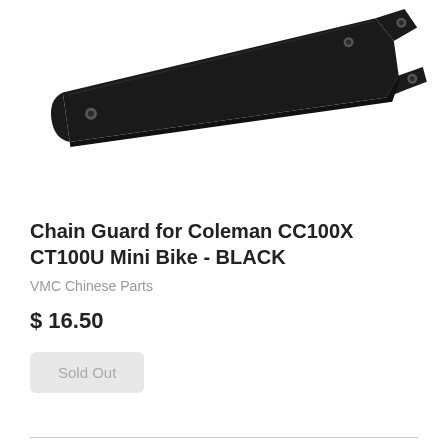[Figure (photo): Black metal chain guard bracket for Coleman CC100X CT100U Mini Bike, showing a flat black powder-coated metal piece with mounting holes]
Chain Guard for Coleman CC100X CT100U Mini Bike - BLACK
VMC Chinese Parts
$ 16.50
Sold Out